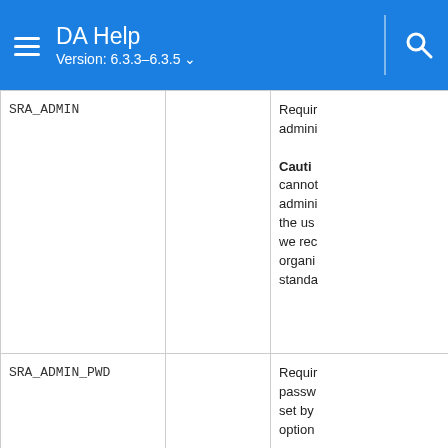DA Help Version: 6.3.3-6.3.5
| Parameter | Default | Description |
| --- | --- | --- |
| SRA_ADMIN |  | Requires admin... Caution: cannot... admini... the us... we rec... organi... standa... |
| SRA_ADMIN_PWD |  | Requires password... set by... option... |
| TC_PORT | 8080 | Comm... require... installa... |